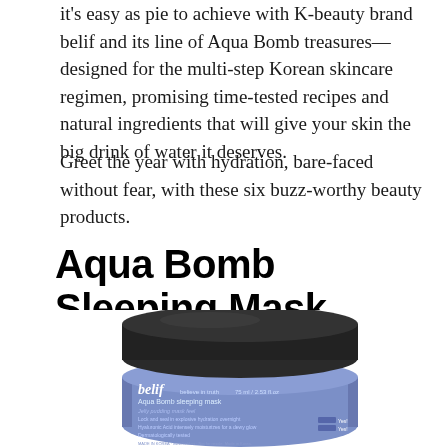it's easy as pie to achieve with K-beauty brand belif and its line of Aqua Bomb treasures—designed for the multi-step Korean skincare regimen, promising time-tested recipes and natural ingredients that will give your skin the big drink of water it deserves.
Greet the year with hydration, bare-faced without fear, with these six buzz-worthy beauty products.
Aqua Bomb Sleeping Mask
[Figure (photo): Product photo of belif Aqua Bomb Sleeping Mask jar, 75ml/2.53 fl oz, in a blue/purple container with black lid, showing product label details including Hyaluronic Acid and dermatologically tested claims.]